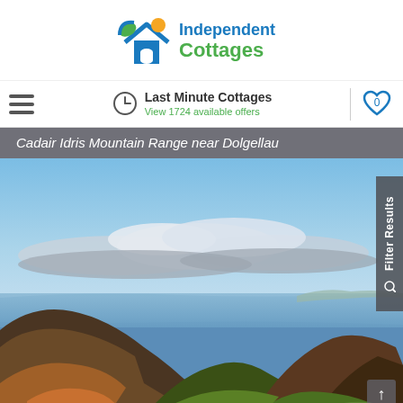[Figure (logo): Independent Cottages logo: colorful house icon with green/blue/orange colors and text 'Independent Cottages' in blue/green]
Last Minute Cottages | View 1724 available offers | 0 (favourites heart icon)
Cadair Idris Mountain Range near Dolgellau
[Figure (photo): Scenic landscape photograph of Cadair Idris Mountain Range near Dolgellau, Wales. Shows a valley with mountains, a bay or estuary in the background, dramatic clouds, green fields and brown/russet hillsides in foreground.]
Filter Results